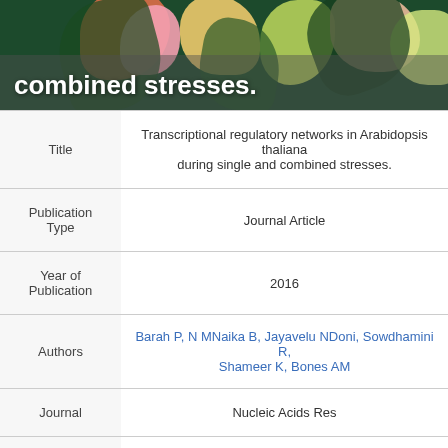[Figure (photo): Decorative floral/botanical header image with dark green leaves and pink/yellow flowers. Text overlay reads 'combined stresses.' in white bold font.]
| Title | Transcriptional regulatory networks in Arabidopsis thaliana during single and combined stresses. |
| Publication Type | Journal Article |
| Year of Publication | 2016 |
| Authors | Barah P, N MNaika B, Jayavelu NDoni, Sowdhamini R, Shameer K, Bones AM |
| Journal | Nucleic Acids Res |
| Volume | 44 |